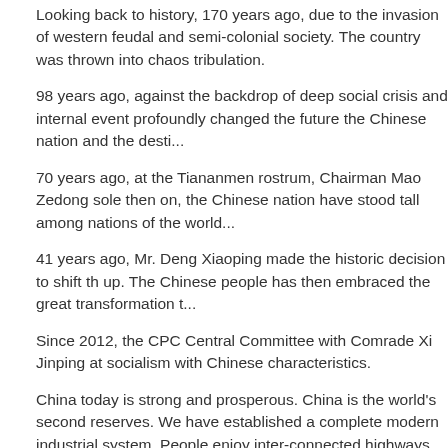Looking back to history, 170 years ago, due to the invasion of western feudal and semi-colonial society. The country was thrown into chaos tribulation.
98 years ago, against the backdrop of deep social crisis and internal event profoundly changed the future the Chinese nation and the desti...
70 years ago, at the Tiananmen rostrum, Chairman Mao Zedong sole then on, the Chinese nation have stood tall among nations of the world.
41 years ago, Mr. Deng Xiaoping made the historic decision to shift th up. The Chinese people has then embraced the great transformation t...
Since 2012, the CPC Central Committee with Comrade Xi Jinping at socialism with Chinese characteristics.
China today is strong and prosperous. China is the world's second reserves. We have established a complete modern industrial system. People enjoy inter-connected highways, inter-regional pipelines and w...
China today is full of vigor and vitality. China has over 100 million m college students graduate and tens of millions of new jobs are creat world. We have the largest middle-income group in the world, with ann...